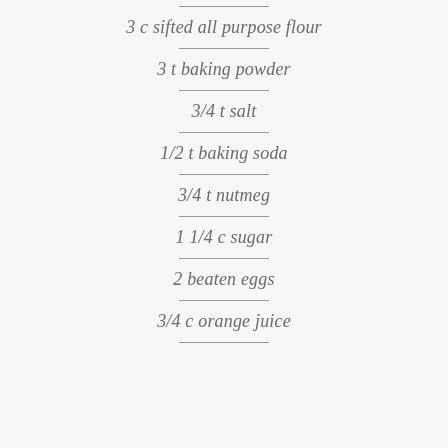3 c sifted all purpose flour
3 t baking powder
3/4 t salt
1/2 t baking soda
3/4 t nutmeg
1 1/4 c sugar
2 beaten eggs
3/4 c orange juice